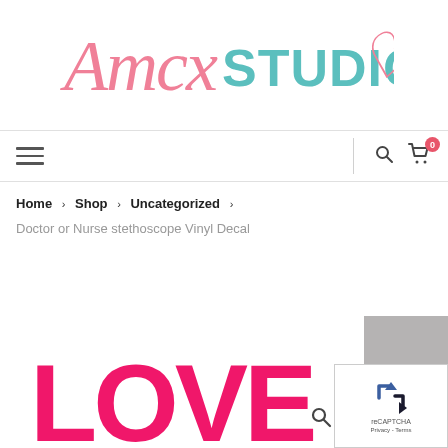[Figure (logo): AmcxStudio logo with script 'Amcx' in pink and 'STUDIO' in teal, with a decorative heart flourish]
[Figure (screenshot): Navigation bar with hamburger menu icon on left, vertical divider, search icon and cart icon with badge '0' on right]
Home › Shop › Uncategorized ›
Doctor or Nurse stethoscope Vinyl Decal
[Figure (photo): Bottom portion of product image showing large hot pink 'LOVE' text, partially cropped, with reCAPTCHA widget and search icon overlay in bottom right]